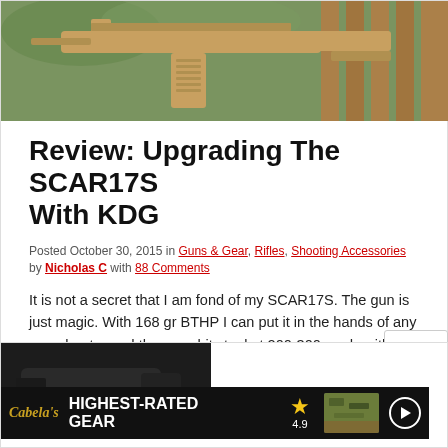[Figure (photo): Hero image of a SCAR17S rifle with tan/FDE finish, showing magazine and barrel against green foliage and wooden fence background]
Review: Upgrading The SCAR17S With KDG
Posted October 30, 2015 in Guns & Gear, Rifles, Shooting Accessories by Nicholas C with 88 Comments
It is not a secret that I am fond of my SCAR17S. The gun is just magic. With 168 gr BTHP I can put it in the hands of any non-shooter and they can hit steel at 200-300 yards with ease. My friend Greg saw the light at the 2015 FNH USA 3Gun Match when [...] Read [Read More…]
[Figure (photo): Partial view of a black handgun, partially obscured by Cabela's advertisement banner showing 'HIGHEST-RATED GEAR' with 4.9 star rating and play button]